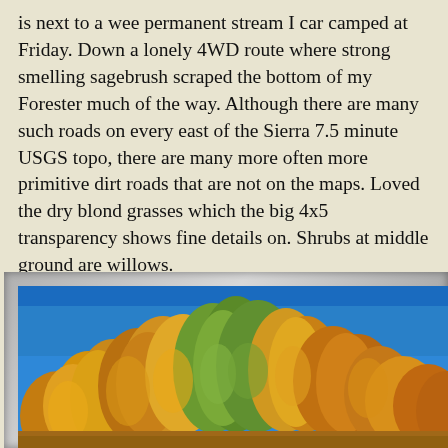is next to a wee permanent stream I car camped at Friday. Down a lonely 4WD route where strong smelling sagebrush scraped the bottom of my Forester much of the way. Although there are many such roads on every east of the Sierra 7.5 minute USGS topo, there are many more often more primitive dirt roads that are not on the maps. Loved the dry blond grasses which the big 4x5 transparency shows fine details on. Shrubs at middle ground are willows.
[Figure (photo): Autumn trees with golden-yellow and orange foliage against a bright blue sky, viewed from below looking up. The trees fill the lower portion of the image with the clear blue sky visible above.]